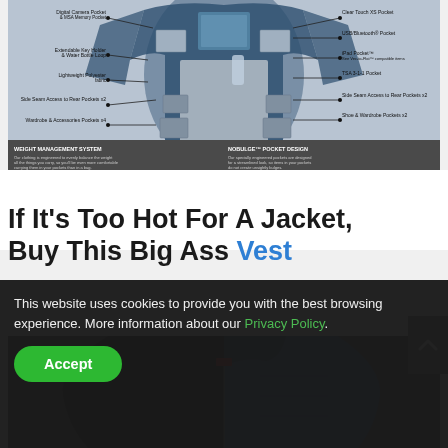[Figure (infographic): Jacket/travel clothing infographic showing labeled pockets: Digital Camera Pocket & MSA Memory Pocket, Clear Touch XS Pocket, USB/Bluetooth Pocket, iPad Pocket (See Vec-to-Flat compatible items), Extendable Key Holder & Water Bottle Loop, TSA 3-1-1 Pocket, Lightweight Polyester fabric, Side Seam Access to Rear Pockets x2, Shoe & Wardrobe Pockets x2, Wardrobe & Accessories Pockets x4, Weight Management System, NoBulge Pocket Design]
If It’s Too Hot For A Jacket, Buy This Big Ass Vest
[Figure (photo): Vest product photo showing blue and dark/black vest on a model, cropped view from collar down]
This website uses cookies to provide you with the best browsing experience. More information about our Privacy Policy.
Accept